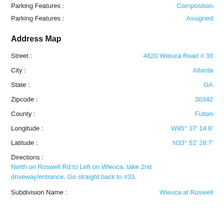Parking Features : Composition
Parking Features : Assigned
Address Map
Street : 4620 Wieuca Road # 33
City : Atlanta
State : GA
Zipcode : 30342
County : Fulton
Longitude : W85° 37' 14.6'
Latitude : N33° 52' 28.7'
Directions : North on Roswell Rd to Left on Wieuca, take 2nd driveway/entrance. Go straight back to #33.
Subdivision Name : Wieuca at Roswell